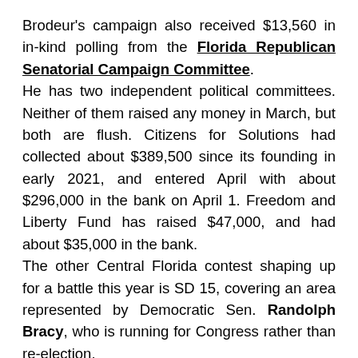Brodeur's campaign also received $13,560 in in-kind polling from the Florida Republican Senatorial Campaign Committee.
He has two independent political committees. Neither of them raised any money in March, but both are flush. Citizens for Solutions had collected about $389,500 since its founding in early 2021, and entered April with about $296,000 in the bank on April 1. Freedom and Liberty Fund has raised $47,000, and had about $35,000 in the bank.
The other Central Florida contest shaping up for a battle this year is SD 15, covering an area represented by Democratic Sen. Randolph Bracy, who is running for Congress rather than re-election.